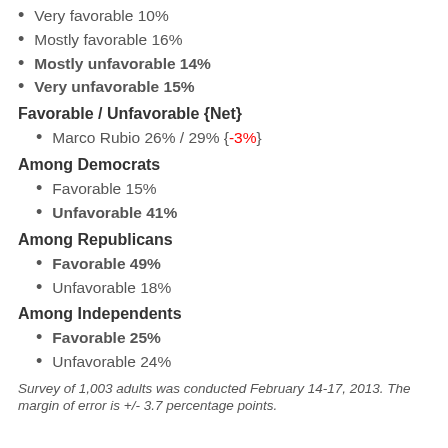Very favorable 10%
Mostly favorable 16%
Mostly unfavorable 14%
Very unfavorable 15%
Favorable / Unfavorable {Net}
Marco Rubio 26% / 29% {-3%}
Among Democrats
Favorable 15%
Unfavorable 41%
Among Republicans
Favorable 49%
Unfavorable 18%
Among Independents
Favorable 25%
Unfavorable 24%
Survey of 1,003 adults was conducted February 14-17, 2013. The margin of error is +/- 3.7 percentage points.